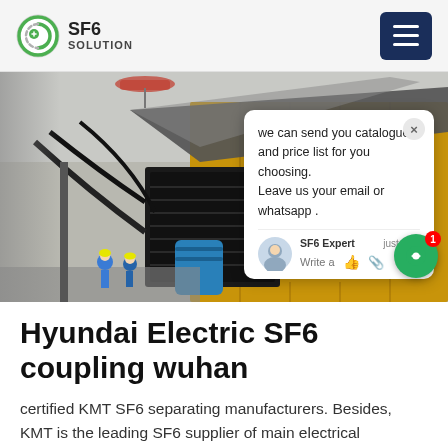SF6 SOLUTION
[Figure (photo): Outdoor industrial scene showing SF6 electrical equipment mounted on a yellow truck/container, with cables, large transformer-like device, blue barrel, workers in hard hats visible in background, red helicopter partially visible at top]
we can send you catalogue and price list for you choosing. Leave us your email or whatsapp .
Hyundai Electric SF6 coupling wuhan
certified KMT SF6 separating manufacturers. Besides, KMT is the leading SF6 supplier of main electrical equipment production companies, like XD